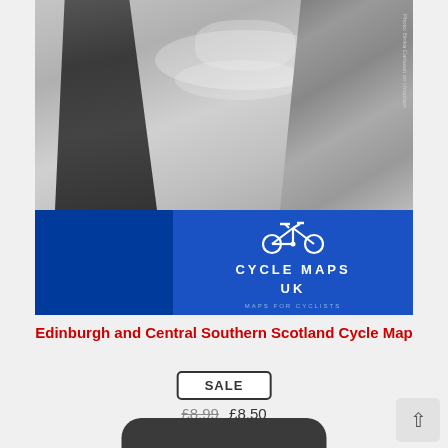[Figure (photo): Black and white photograph of the Kelpies sculpture in Scotland — two large horse-head sculptures with dramatic clouds in the background. Below the photo is a blue branded band with a bicycle logo reading CYCLE MAPS UK — MAPS FOR CYCLISTS. Photo credit: Birika Carlsson on Unsplash.]
Edinburgh and Central Southern Scotland Cycle Map
SALE
£8.99 £8.50